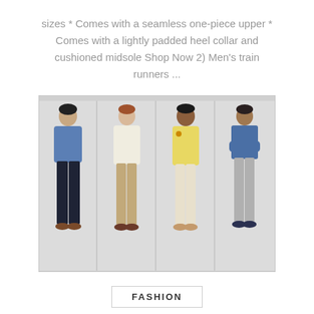sizes * Comes with a seamless one-piece upper * Comes with a lightly padded heel collar and cushioned midsole Shop Now 2) Men's train runners ...
[Figure (photo): Four men standing in casual clothing: first in blue long-sleeve shirt and dark jeans, second in cream sweater and khaki pants, third in yellow sweatshirt and cream joggers, fourth in blue polo and grey pants.]
FASHION